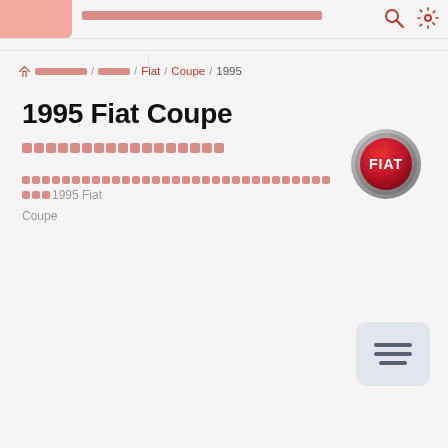[Thai navigation header with search and settings icons]
🏠 [Thai text] / [Thai text] / Fiat / Coupe / 1995
1995 Fiat Coupe
[Thai subtitle text]
[Thai description text] 1995 Fiat Coupe
[Figure (logo): Fiat brand logo - circular chrome badge with red background and white FIAT text]
[Figure (other): Menu/list icon button in bottom right corner with three horizontal lines]